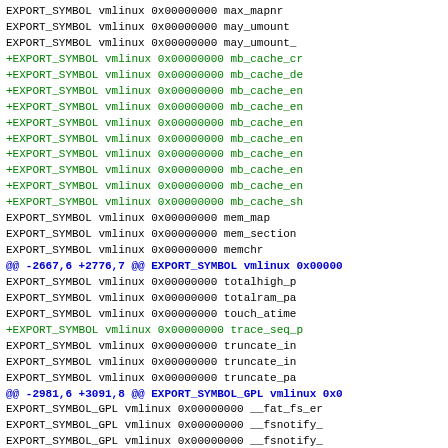Code diff showing EXPORT_SYMBOL and EXPORT_SYMBOL_GPL entries for vmlinux with address 0x00000000, including context lines (black) and added lines (green), with hunk headers (blue).